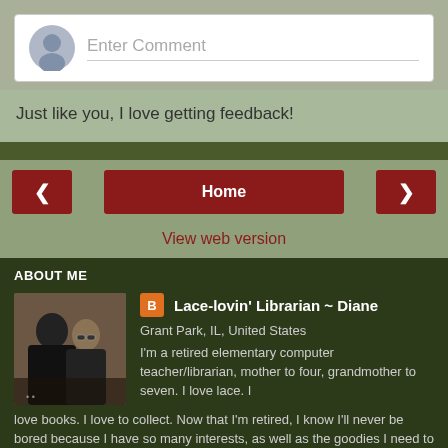[Figure (screenshot): Comment input box with avatar circle and 'Enter Comment' placeholder text]
Just like you, I love getting feedback!
[Figure (screenshot): Navigation bar with left arrow button, Home button, right arrow button, and View web version link]
ABOUT ME
[Figure (photo): Photo of two people, profile picture for Lace-lovin' Librarian ~ Diane]
Lace-lovin' Librarian ~ Diane
Grant Park, IL, United States
I'm a retired elementary computer teacher/librarian, mother to four, grandmother to seven. I love lace. I love books. I love to collect. Now that I'm retired, I know I'll never be bored because I have so many interests, as well as the goodies I need to indulge my whims!
View my complete profile